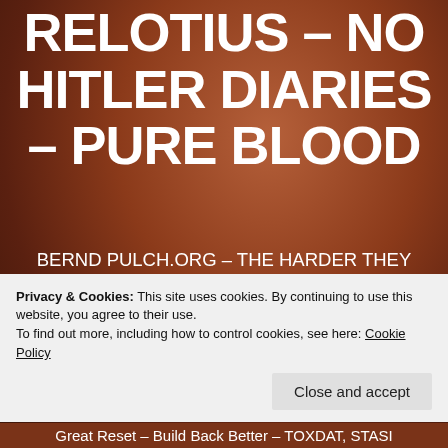RELOTIUS – NO HITLER DIARIES – PURE BLOOD
BERND PULCH.ORG – THE HARDER THEY COME THE HARDER THEY FALL -THE INDEPENDENT VOICE OF FREEDOM – NO MORE FAIRY TALES – NO GATES OR SOROS FUNDING – NO PROJECT SYNDICATE – SCHLUSS MIT MÄRCHENSTUNDE – Kein Relotius – Keine Hitler-Tagebücher – Keine Peanuts – Great Reset, Build Back Better,
Privacy & Cookies: This site uses cookies. By continuing to use this website, you agree to their use.
To find out more, including how to control cookies, see here: Cookie Policy
Close and accept
Great Reset – Build Back Better – TOXDAT, STASI